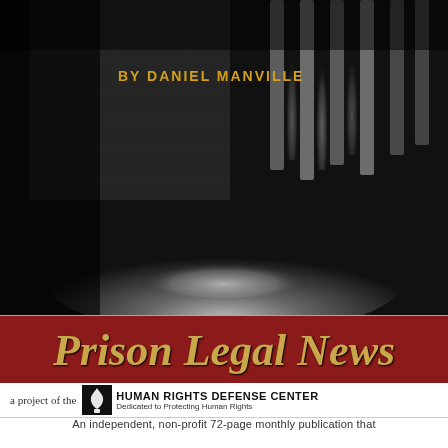[Figure (illustration): Dark book cover image showing a prison environment — a dimly lit corridor with iron bars visible in the background and a stone or metal surface (possibly a floor or ledge) in the foreground illuminated by a spotlight. Dark and moody monochromatic scene.]
BY DANIEL MANVILLE
Prison Legal News
a project of the  HUMAN RIGHTS DEFENSE CENTER  Dedicated to Protecting Human Rights
An independent, non-profit 72-page monthly publication that